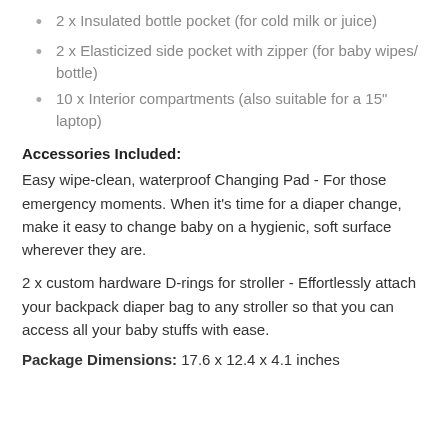2 x Insulated bottle pocket (for cold milk or juice)
2 x Elasticized side pocket with zipper (for baby wipes/bottle)
10 x Interior compartments (also suitable for a 15" laptop)
Accessories Included:
Easy wipe-clean, waterproof Changing Pad - For those emergency moments. When it's time for a diaper change, make it easy to change baby on a hygienic, soft surface wherever they are.
2 x custom hardware D-rings for stroller - Effortlessly attach your backpack diaper bag to any stroller so that you can access all your baby stuffs with ease.
Package Dimensions: 17.6 x 12.4 x 4.1 inches